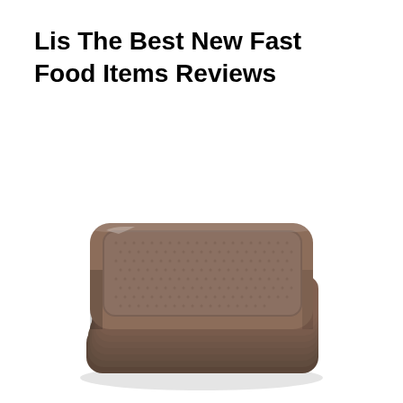Lis The Best New Fast Food Items Reviews
[Figure (photo): A stack of brown plastic fast food serving trays with a textured non-slip surface, viewed from a slight angle above.]